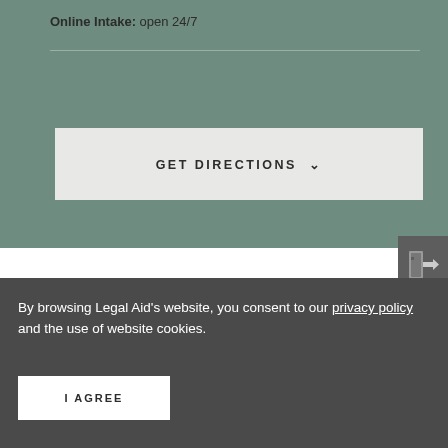Online Intake: open 24/7
[Figure (other): GET DIRECTIONS button with chevron]
[Figure (other): Exit/leave icon on dark grey background]
By browsing Legal Aid's website, you consent to our privacy policy and the use of website cookies.
[Figure (other): I AGREE button]
General Business: 440-576-8120
Fax: 440-576-3021
ours:
Daily by Appointment Only
[Figure (other): Accessibility icon - person in circle]